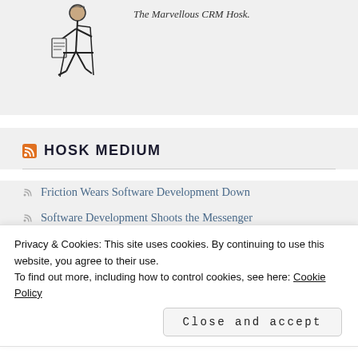[Figure (illustration): Line drawing illustration of a person sitting on a chair reading or writing]
The Marvellous CRM Hosk.
HOSK MEDIUM
Friction Wears Software Development Down
Software Development Shoots the Messenger (Developer)
Privacy & Cookies: This site uses cookies. By continuing to use this website, you agree to their use.
To find out more, including how to control cookies, see here: Cookie Policy
Close and accept